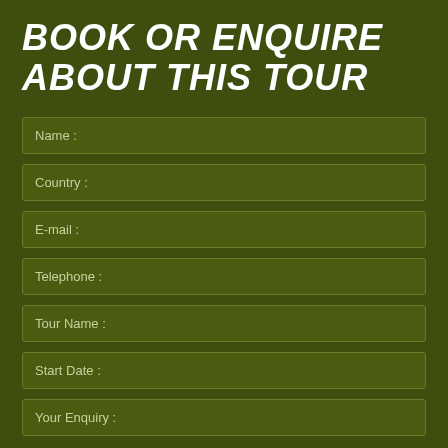BOOK OR ENQUIRE ABOUT THIS TOUR
Name :
Country :
E-mail :
Telephone :
Tour Name :
Start Date :
Your Enquiry :